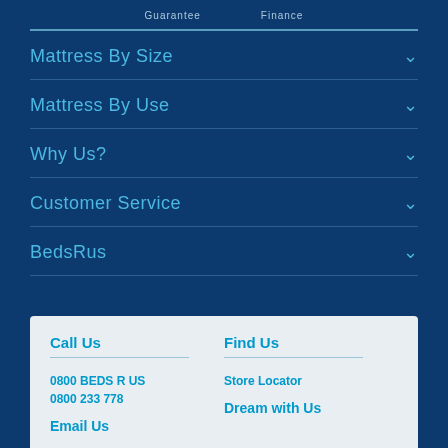Guarantee   Finance
Mattress By Size
Mattress By Use
Why Us?
Customer Service
BedsRus
Call Us
0800 BEDS R US
0800 233 778
Find Us
Store Locator
Dream with Us